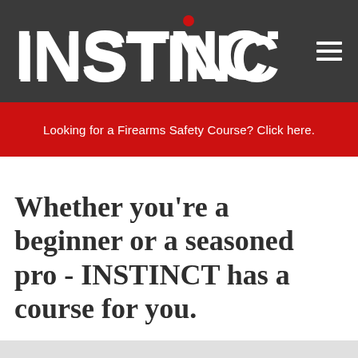[Figure (logo): INSTINCT logo in white bold text on dark gray background, with a red dot above the letter I in the second 'I' of INSTINCT]
Looking for a Firearms Safety Course? Click here.
Whether you're a beginner or a seasoned pro - INSTINCT has a course for you.